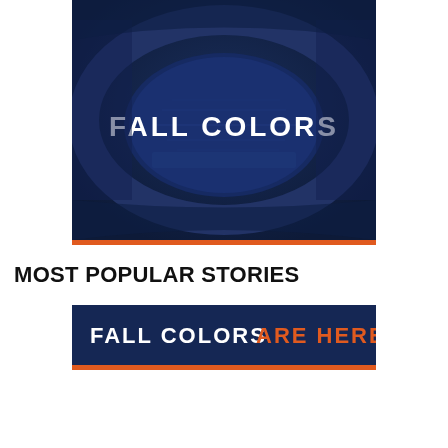[Figure (photo): Aerial view of a football stadium with dark navy blue color overlay and white bold text reading FALL COLORS centered on the field area]
MOST POPULAR STORIES
[Figure (illustration): Dark navy banner with white text FALL COLORS and orange text ARE HERE]